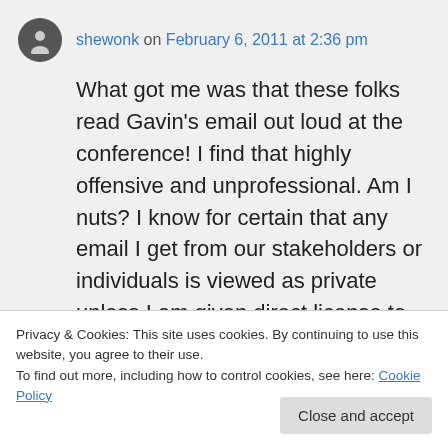shewonk on February 6, 2011 at 2:36 pm
What got me was that these folks read Gavin's email out loud at the conference! I find that highly offensive and unprofessional. Am I nuts? I know for certain that any email I get from our stakeholders or individuals is viewed as private unless I am given direct license to make it public or someone makes an FOIA
Privacy & Cookies: This site uses cookies. By continuing to use this website, you agree to their use.
To find out more, including how to control cookies, see here: Cookie Policy
Close and accept